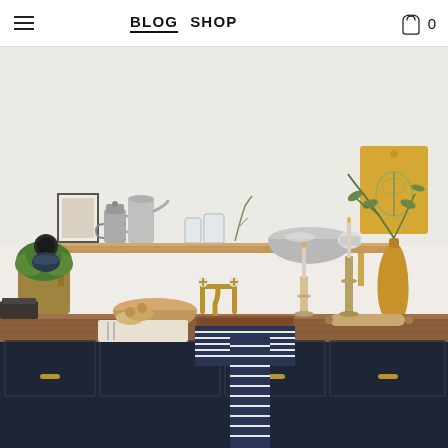BLOG  SHOP  0
[Figure (photo): Kitchen interior with open wooden shelving holding silver coffee pots, a large silver colander bowl, glass jars, and a yellow botanical cutting board. Below is a dark navy cabinet with copper/wood countertop, brass bridge faucet, copper sink, a potted rosemary herb, a wooden bowl, bread rolls on a cloth, a rolling pin, a yellow vase with olive branches, white candles in brass candlestick holders, and a navy striped dish towel draped over the sink.]